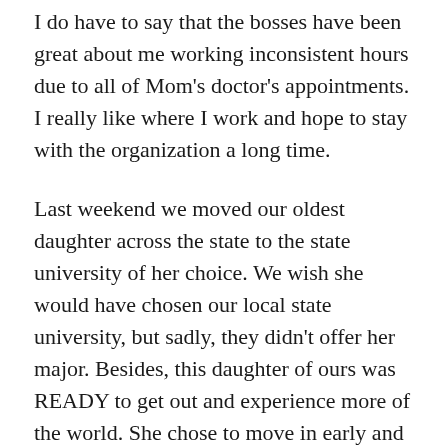I do have to say that the bosses have been great about me working inconsistent hours due to all of Mom's doctor's appointments. I really like where I work and hope to stay with the organization a long time.
Last weekend we moved our oldest daughter across the state to the state university of her choice. We wish she would have chosen our local state university, but sadly, they didn't offer her major. Besides, this daughter of ours was READY to get out and experience more of the world. She chose to move in early and is excited to be part of a collegiate track team.